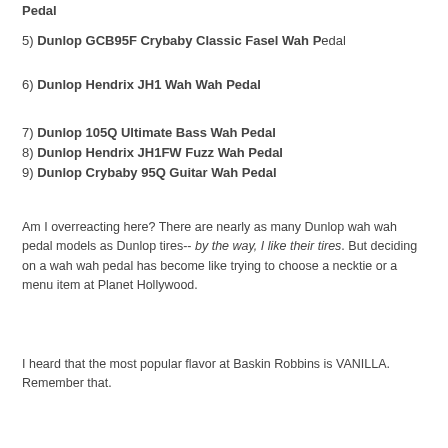Pedal
5) Dunlop GCB95F Crybaby Classic Fasel Wah Pedal
6) Dunlop Hendrix JH1 Wah Wah Pedal
7) Dunlop 105Q Ultimate Bass Wah Pedal
8) Dunlop Hendrix JH1FW Fuzz Wah Pedal
9) Dunlop Crybaby 95Q Guitar Wah Pedal
Am I overreacting here? There are nearly as many Dunlop wah wah pedal models as Dunlop tires-- by the way, I like their tires. But deciding on a wah wah pedal has become like trying to choose a necktie or a menu item at Planet Hollywood.
I heard that the most popular flavor at Baskin Robbins is VANILLA. Remember that.